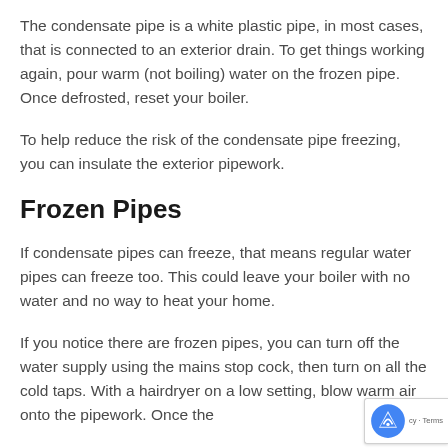The condensate pipe is a white plastic pipe, in most cases, that is connected to an exterior drain. To get things working again, pour warm (not boiling) water on the frozen pipe. Once defrosted, reset your boiler.
To help reduce the risk of the condensate pipe freezing, you can insulate the exterior pipework.
Frozen Pipes
If condensate pipes can freeze, that means regular water pipes can freeze too. This could leave your boiler with no water and no way to heat your home.
If you notice there are frozen pipes, you can turn off the water supply using the mains stop cock, then turn on all the cold taps. With a hairdryer on a low setting, blow warm air onto the pipework. Once the pipes are thawed, water will flow out of the...